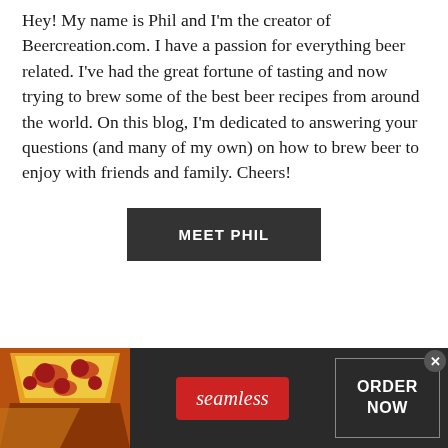Hey! My name is Phil and I'm the creator of Beercreation.com. I have a passion for everything beer related. I've had the great fortune of tasting and now trying to brew some of the best beer recipes from around the world. On this blog, I'm dedicated to answering your questions (and many of my own) on how to brew beer to enjoy with friends and family. Cheers!
[Figure (other): Dark button with white uppercase text reading MEET PHIL]
[Figure (other): Advertisement banner for Seamless food delivery. Left side shows pizza slices photo. Center has red Seamless badge in italic. Right side has ORDER NOW in white text inside a light border rectangle. Dark background. Close button (x) in top right.]